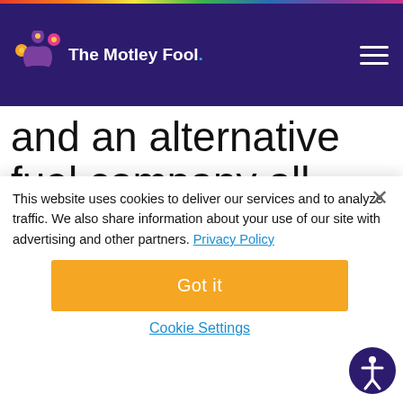The Motley Fool
and an alternative fuel company all look like compelling buys this month.
The panic selling that's gripped the market for the
This website uses cookies to deliver our services and to analyze traffic. We also share information about your use of our site with advertising and other partners. Privacy Policy
Got it
Cookie Settings